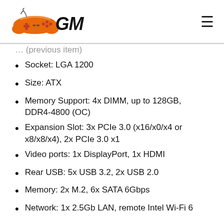GM logo and navigation
Socket: LGA 1200
Size: ATX
Memory Support: 4x DIMM, up to 128GB, DDR4-4800 (OC)
Expansion Slot: 3x PCIe 3.0 (x16/x0/x4 or x8/x8/x4), 2x PCIe 3.0 x1
Video ports: 1x DisplayPort, 1x HDMI
Rear USB: 5x USB 3.2, 2x USB 2.0
Memory: 2x M.2, 6x SATA 6Gbps
Network: 1x 2.5Gb LAN, remote Intel Wi-Fi 6
The MPG series draws out the Best Motherboard for Future Upgrades by permitting full shading articulation with cutting edge RGB lighting control and